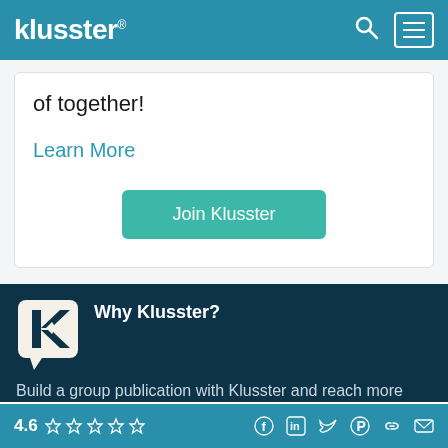klusster®
of together!
Learn More
Join Klusster
[Figure (logo): Klusster K logo, white stylized K on dark teal speech bubble]
Why Klusster?
Build a group publication with Klusster and reach more
4.6 ☆☆☆☆☆  [social icons: Facebook, LinkedIn, Twitter, Pinterest, Link, Email]